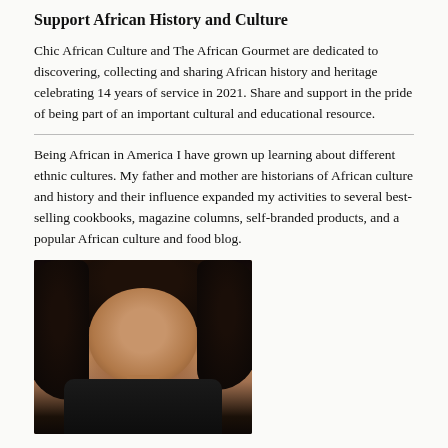Support African History and Culture
Chic African Culture and The African Gourmet are dedicated to discovering, collecting and sharing African history and heritage celebrating 14 years of service in 2021. Share and support in the pride of being part of an important cultural and educational resource.
Being African in America I have grown up learning about different ethnic cultures. My father and mother are historians of African culture and history and their influence expanded my activities to several best-selling cookbooks, magazine columns, self-branded products, and a popular African culture and food blog.
[Figure (photo): Portrait photo of an African woman with natural curly hair, smiling, wearing a dark top]